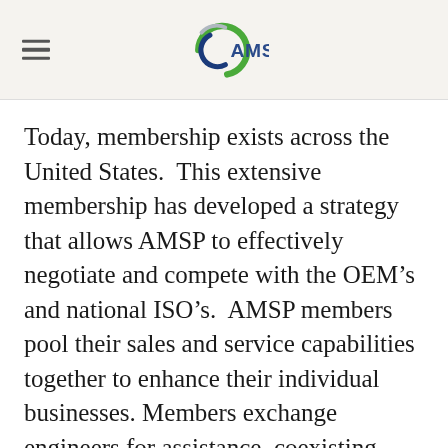[Figure (logo): AMSP logo with green and blue circular design and text 'AMSP']
Today, membership exists across the United States.  This extensive membership has developed a strategy that allows AMSP to effectively negotiate and compete with the OEM’s and national ISO’s.  AMSP members pool their sales and service capabilities together to enhance their individual businesses.  Members exchange engineers for assistance, coexisting within the same accounts without fear of loss of servicing